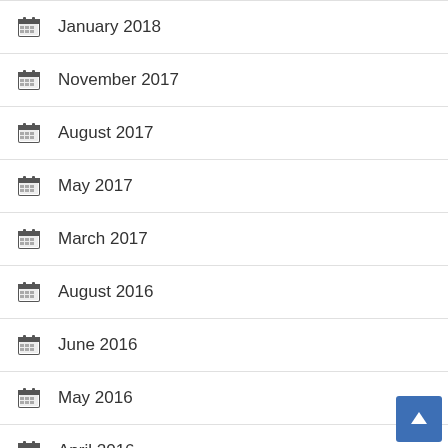January 2018
November 2017
August 2017
May 2017
March 2017
August 2016
June 2016
May 2016
April 2016
February 2016
November 2015
November 2014
July 2014